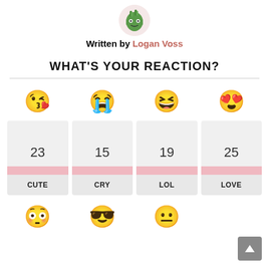[Figure (illustration): Green monster avatar in circular frame]
Written by Logan Voss
WHAT'S YOUR REACTION?
| CUTE | CRY | LOL | LOVE |
| --- | --- | --- | --- |
| 23 | 15 | 19 | 25 |
[Figure (illustration): Bottom row emojis: wide-eyed face, sunglasses face, neutral face]